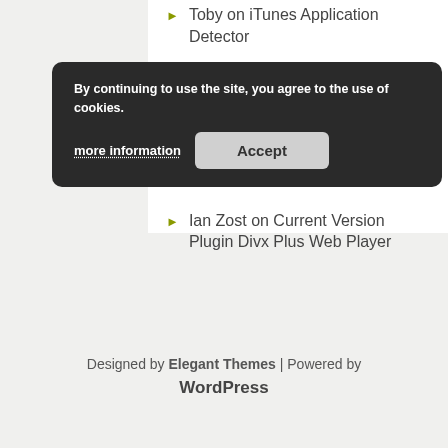Toby on iTunes Application Detector
Jack Hopkins on iTunes Application Detector
Ian Zost on Current Version Plugin Divx Plus Web Player
Ian Zost on Current Version Plugin Divx Plus Web Player
By continuing to use the site, you agree to the use of cookies.
more information
Accept
Designed by Elegant Themes | Powered by WordPress